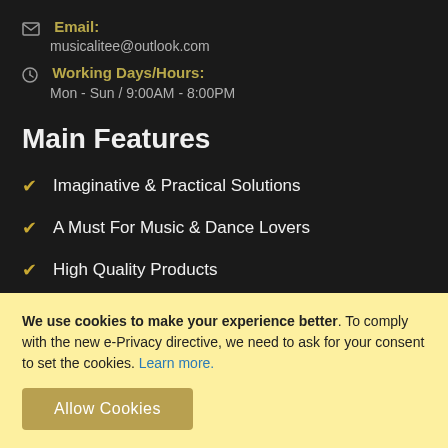Email: musicalitee@outlook.com
Working Days/Hours: Mon - Sun / 9:00AM - 8:00PM
Main Features
Imaginative & Practical Solutions
A Must For Music & Dance Lovers
High Quality Products
Sensible Prices
Friendly & Fast Customer Service
Be the First to Know
We use cookies to make your experience better. To comply with the new e-Privacy directive, we need to ask for your consent to set the cookies. Learn more.